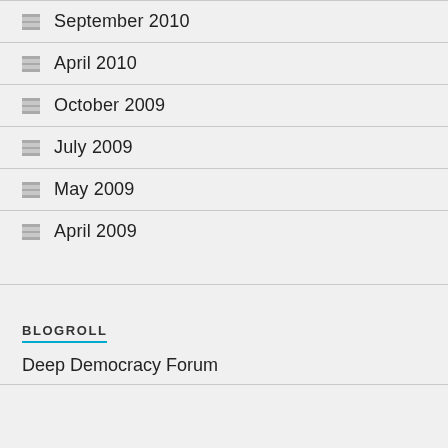September 2010
April 2010
October 2009
July 2009
May 2009
April 2009
BLOGROLL
Deep Democracy Forum